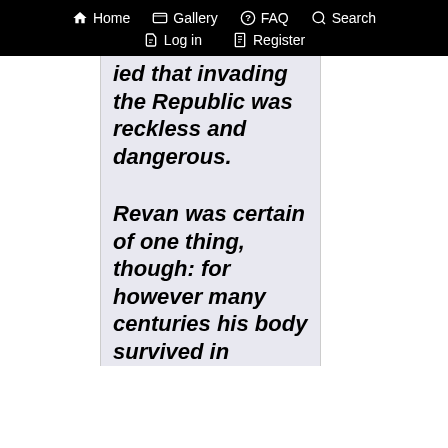Home  Gallery  FAQ  Search  Log in  Register
...ied that invading the Republic was reckless and dangerous.
Revan was certain of one thing, though: for however many centuries his body survived in